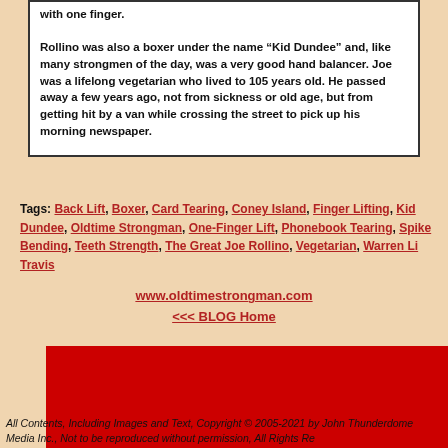with one finger.

Rollino was also a boxer under the name “Kid Dundee” and, like many strongmen of the day, was a very good hand balancer. Joe was a lifelong vegetarian who lived to 105 years old. He passed away a few years ago, not from sickness or old age, but from getting hit by a van while crossing the street to pick up his morning newspaper.
Tags: Back Lift, Boxer, Card Tearing, Coney Island, Finger Lifting, Kid Dundee, Oldtime Strongman, One-Finger Lift, Phonebook Tearing, Spike Bending, Teeth Strength, The Great Joe Rollino, Vegetarian, Warren Li Travis
www.oldtimestrongman.com
<<< BLOG Home
[Figure (other): Red banner/advertisement block]
All Contents, Including Images and Text, Copyright © 2005-2021 by John Thunderdome Media Inc., Not to be reproduced without permission, All Rights Re